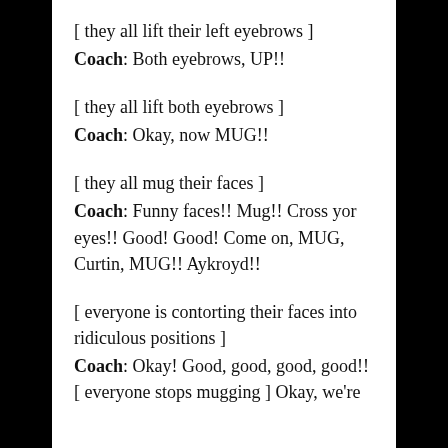[ they all lift their left eyebrows ]
Coach: Both eyebrows, UP!!
[ they all lift both eyebrows ]
Coach: Okay, now MUG!!
[ they all mug their faces ]
Coach: Funny faces!! Mug!! Cross yor eyes!! Good! Good! Come on, MUG, Curtin, MUG!! Aykroyd!!
[ everyone is contorting their faces into ridiculous positions ]
Coach: Okay! Good, good, good, good!! [ everyone stops mugging ] Okay, we're